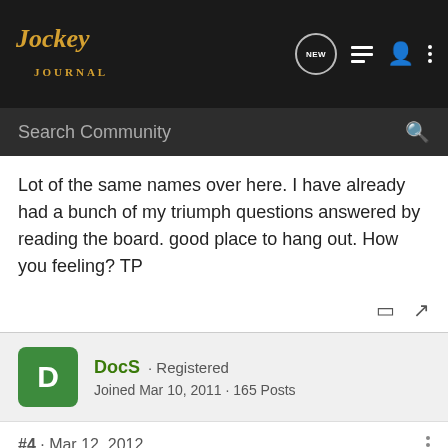Jockey Journal — NEW | list | profile | more
Search Community
Lot of the same names over here. I have already had a bunch of my triumph questions answered by reading the board. good place to hang out. How you feeling? TP
DocS · Registered
Joined Mar 10, 2011 · 165 Posts
#4 · Mar 12, 2012
Hey, TPrice! Welcome!